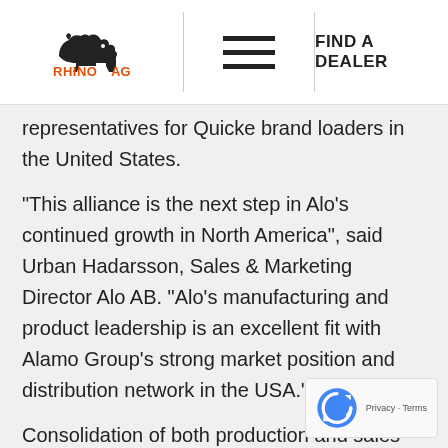RHINO AG | Menu | FIND A DEALER
representatives for Quicke brand loaders in the United States.
“This alliance is the next step in Alo’s continued growth in North America”, said Urban Hadarsson, Sales & Marketing Director Alo AB. “Alo’s manufacturing and product leadership is an excellent fit with Alamo Group’s strong market position and distribution network in the USA.”
Consolidation of both production and sales activities is already underway and scheduled fully in place from July 01, 2012. Dealers should